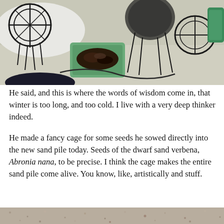[Figure (photo): Outdoor patio scene with wrought iron furniture including chairs and a round table, a green container/basket with dark contents (seeds or plant material), concrete patio surface, snow visible in background, shadows cast on pavement, green watering can visible at right edge.]
He said, and this is where the words of wisdom come in, that winter is too long, and too cold. I live with a very deep thinker indeed.

He made a fancy cage for some seeds he sowed directly into the new sand pile today. Seeds of the dwarf sand verbena, Abronia nana, to be precise. I think the cage makes the entire sand pile come alive. You know, like, artistically and stuff.
[Figure (photo): Close-up of a sandy/gravelly surface, showing texture of fine to coarse sand and small pebbles.]